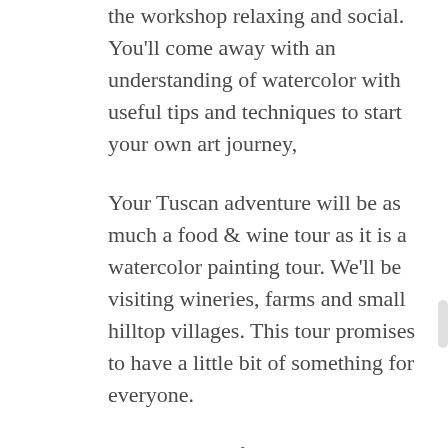the workshop relaxing and social. You'll come away with an understanding of watercolor with useful tips and techniques to start your own art journey,
Your Tuscan adventure will be as much a food & wine tour as it is a watercolor painting tour. We'll be visiting wineries, farms and small hilltop villages. This tour promises to have a little bit of something for everyone.
Come join us if you have an interest in painting, or just want to have a truly authentic escape to Tuscany. Let yourself be seduced by the food and wine, the amazing scenery, the exquisite light, and the charm of Tuscany in the Spring.